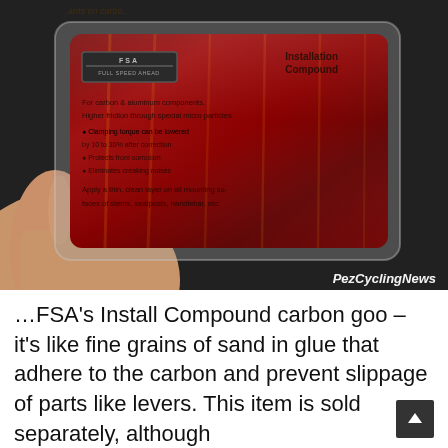[Figure (photo): A hand holding a small red semi-transparent packet of FSA Install Compound carbon assembly paste. The packet shows the FSA logo and text about carbon and aluminum components, higher friction, clamping torque, and application instructions. A 'PezCyclingNews' watermark appears in the bottom right corner of the photo.]
…FSA's Install Compound carbon goo – it's like fine grains of sand in glue that adhere to the carbon and prevent slippage of parts like levers. This item is sold separately, although